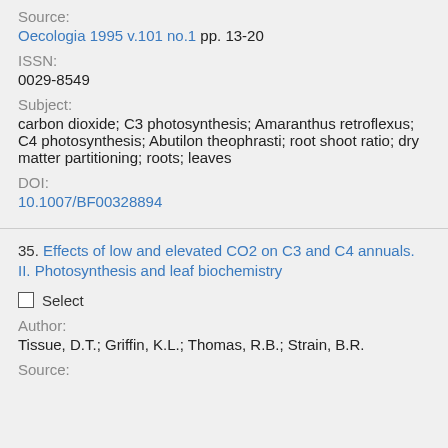Source:
Oecologia 1995 v.101 no.1 pp. 13-20
ISSN:
0029-8549
Subject:
carbon dioxide; C3 photosynthesis; Amaranthus retroflexus; C4 photosynthesis; Abutilon theophrasti; root shoot ratio; dry matter partitioning; roots; leaves
DOI:
10.1007/BF00328894
35. Effects of low and elevated CO2 on C3 and C4 annuals. II. Photosynthesis and leaf biochemistry
Select
Author:
Tissue, D.T.; Griffin, K.L.; Thomas, R.B.; Strain, B.R.
Source: